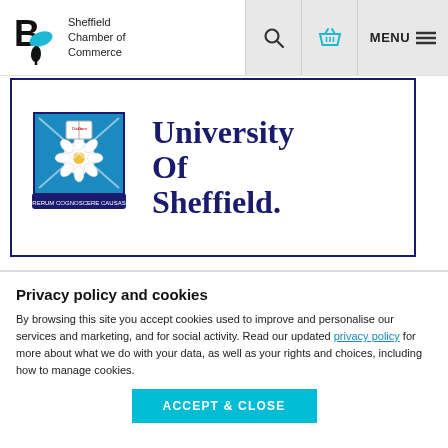[Figure (logo): Sheffield Chamber of Commerce logo with stylized B leaf icon and text]
[Figure (logo): University of Sheffield logo with crest and text 'University Of Sheffield.']
Privacy policy and cookies
By browsing this site you accept cookies used to improve and personalise our services and marketing, and for social activity. Read our updated privacy policy for more about what we do with your data, as well as your rights and choices, including how to manage cookies.
ACCEPT & CLOSE